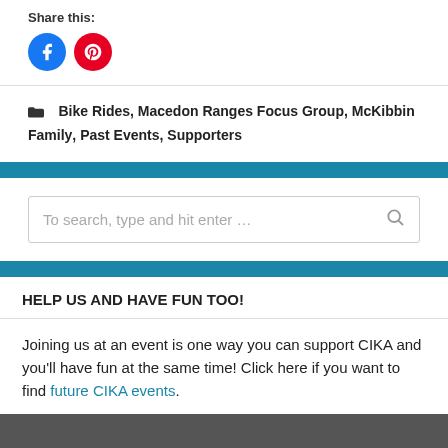Share this:
[Figure (illustration): Two social sharing icons: blue Facebook circle and red Pinterest circle]
Bike Rides, Macedon Ranges Focus Group, McKibbin Family, Past Events, Supporters
To search, type and hit enter ...
HELP US AND HAVE FUN TOO!
Joining us at an event is one way you can support CIKA and you'll have fun at the same time!  Click here if you want to find future CIKA events.
[Figure (photo): Partial photo strip visible at bottom of page]